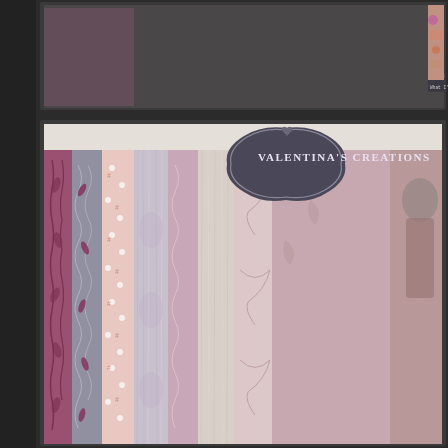[Figure (screenshot): A web page or digital storefront screenshot showing two product listings for digital scrapbooking kits by Valentina's Creations. The top partial listing shows a photo of craft/sewing supplies with text 'What I've Never Said Before (Ele...' The bottom listing shows a paper pack preview with vertical strips of patterned scrapbooking papers in mauve/pink, gray, and cream tones with floral and scrollwork patterns, topped with a dark badge logo reading 'Valentina's Creations'.]